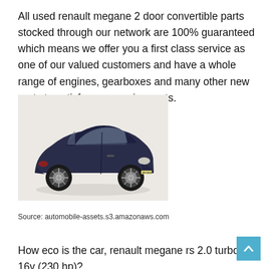All used renault megane 2 door convertible parts stocked through our network are 100% guaranteed which means we offer you a first class service as one of our valued customers and have a whole range of engines, gearboxes and many other new parts to satisfy your requirements.
[Figure (photo): A dark blue Renault Megane 2-door coupe photographed on a light grey/white background, three-quarter front view from the left side.]
Source: automobile-assets.s3.amazonaws.com
How eco is the car, renault megane rs 2.0 turbo 16v (230 hp)?